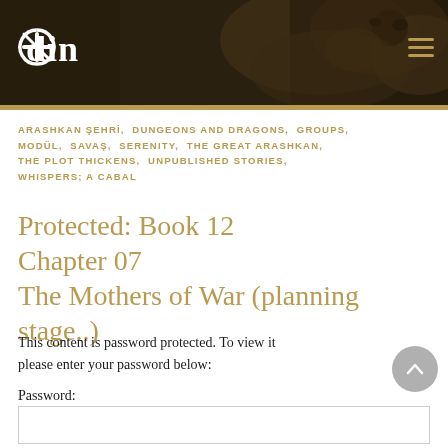[Figure (screenshot): Website header banner with fantasy dark art background showing creatures, gold bottom border, white 'odin' logo text with stylized rune icon on left, and three horizontal gold hamburger menu lines on right]
ARASHKAN ŞEHRİ, DUNGEONS AND DRAGONS, GROUPS, MODÜL, SAVAŞ, SERENITY, THE GREAT ARASHKAN, THE PLOT THICKENS, UNPUBLISHED STORIES, WHISPERS; A CABAL
Protected: Book 12 Chapter 07 The Mothers of War (planning stage..)
This content is password protected. To view it please enter your password below:
Password: